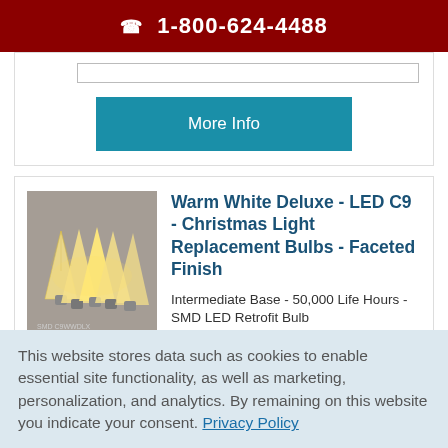1-800-624-4488
[Figure (other): Input/search bar element (partially visible at top of card)]
More Info
[Figure (photo): Warm white faceted LED C9 Christmas light replacement bulbs, multiple bulbs shown, warm glow, faceted finish]
Warm White Deluxe - LED C9 - Christmas Light Replacement Bulbs - Faceted Finish
Intermediate Base - 50,000 Life Hours - SMD LED Retrofit Bulb
This website stores data such as cookies to enable essential site functionality, as well as marketing, personalization, and analytics. By remaining on this website you indicate your consent. Privacy Policy